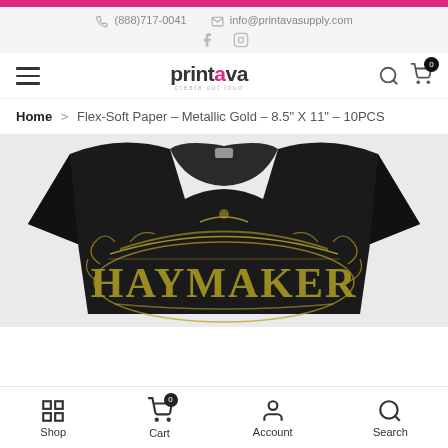(888)717-0041  info@printavasupply.com
[Figure (logo): Printava logo with pink dot and tagline 'create out loud']
Home > Flex-Soft Paper - Metallic Gold - 8.5" X 11" - 10PCS
[Figure (photo): Black t-shirt with metallic gold 'HAYMAKER' ornate graphic print on a light gray background]
Shop  Cart 0  Account  Search